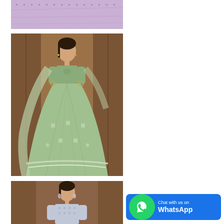[Figure (photo): Top portion of a light purple/lavender fabric or garment laid flat, showing embroidered textile detail]
[Figure (photo): Woman wearing a full-length sage/mint green embroidered lehenga choli (Indian ethnic wear) with dupatta, standing in front of a wooden door background]
[Figure (photo): Woman wearing a light blue/grey embroidered Indian outfit, partial view showing upper body]
[Figure (infographic): WhatsApp chat button with green phone icon and text 'Chat with us on WhatsApp' on blue background]